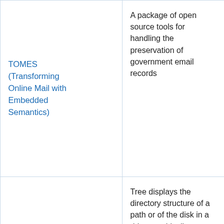| Tool | Description |
| --- | --- |
| TOMES (Transforming Online Mail with Embedded Semantics) | A package of open source tools for handling the preservation of government email records |
| Tree | Tree displays the directory structure of a path or of the disk in a drive graphically. |
| USGS Formal metadata: information and software | This page links to information and tools from the USGS. |
| VRenamer | vRenamer is a cross platform tool for batch renaming files |
|  | Voyeur is a web-based text analysis |